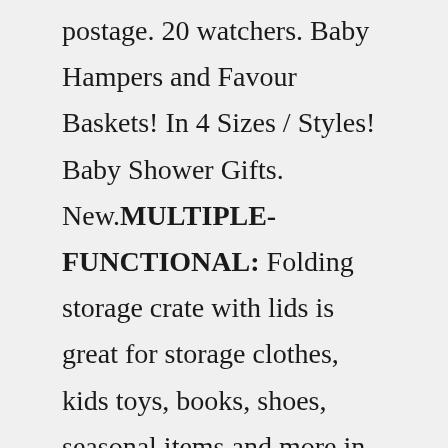postage. 20 watchers. Baby Hampers and Favour Baskets! In 4 Sizes / Styles! Baby Shower Gifts. New.MULTIPLE-FUNCTIONAL: Folding storage crate with lids is great for storage clothes, kids toys, books, shoes, seasonal items and more in the home or office. Make the room more tidy.breeze it ideal for on-the-go transport and when collapsed offers a space saving solution for your trunk, Garage, patio,